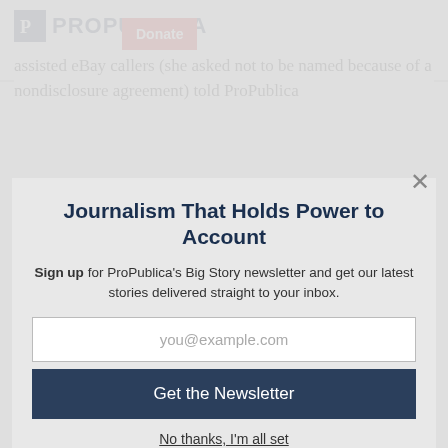ProPublica | Donate
assisted eBay callers (she asked not to be named because of a nondisclosure agreement) told ProPublica
Journalism That Holds Power to Account
Sign up for ProPublica's Big Story newsletter and get our latest stories delivered straight to your inbox.
you@example.com
Get the Newsletter
No thanks, I'm all set
This site is protected by reCAPTCHA and the Google Privacy Policy and Terms of Service apply.